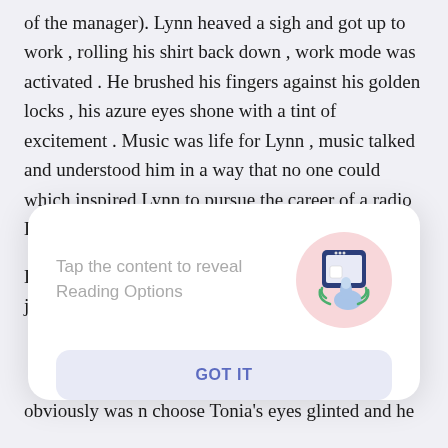of the manager). Lynn heaved a sigh and got up to work , rolling his shirt back down , work mode was activated . He brushed his fingers against his golden locks , his azure eyes shone with a tint of excitement . Music was life for Lynn , music talked and understood him in a way that no one could which inspired Lynn to pursue the career of a radio DJ.
Lynn needed a bachelors degree in fields such as journalism or broadcasting , for a small boy his
[Figure (infographic): A tooltip overlay card with text 'Tap the content to reveal Reading Options' and an illustration of a hand tapping a phone screen, with a 'GOT IT' button below.]
obviously was n choose Tonia's eyes glinted and he